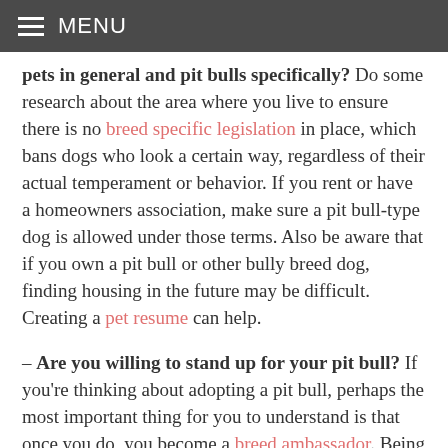MENU
pets in general and pit bulls specifically? Do some research about the area where you live to ensure there is no breed specific legislation in place, which bans dogs who look a certain way, regardless of their actual temperament or behavior. If you rent or have a homeowners association, make sure a pit bull-type dog is allowed under those terms. Also be aware that if you own a pit bull or other bully breed dog, finding housing in the future may be difficult. Creating a pet resume can help.
– Are you willing to stand up for your pit bull? If you're thinking about adopting a pit bull, perhaps the most important thing for you to understand is that once you do, you become a breed ambassador. Being a breed ambassador means separating yourself from the stereotypical pit bull owner and proving to the public that